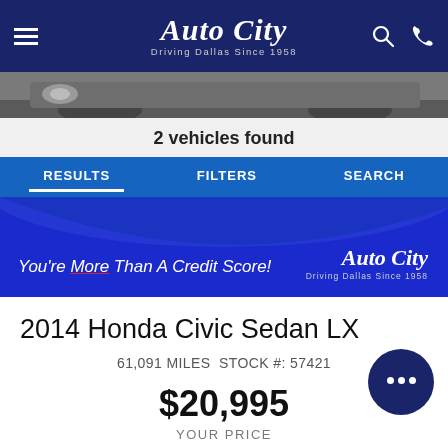Auto City — Driving Dallas Since 1958
[Figure (photo): Partial front view of a gray Honda Civic car]
2 vehicles found
RESULTS  FILTERS  SEARCH
[Figure (infographic): Auto City promo banner: You're More Than A Credit Score! with Auto City logo]
2014 Honda Civic Sedan LX
61,091 MILES  STOCK #: 57421
$20,995
YOUR PRICE
WARRANTY INCLUDED